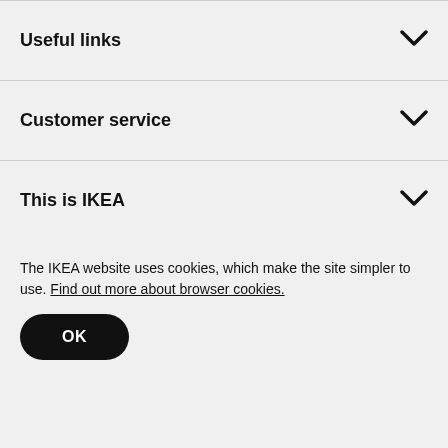Useful links
Customer service
This is IKEA
The IKEA website uses cookies, which make the site simpler to use. Find out more about browser cookies.
OK